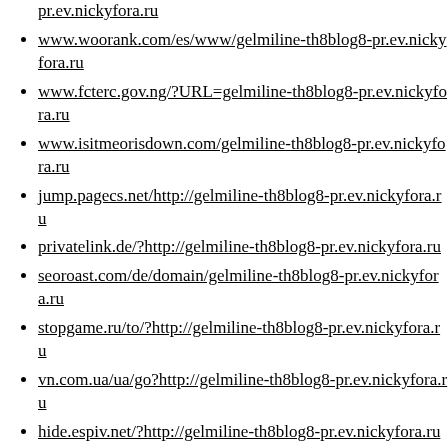pr.ev.nickyfora.ru
www.woorank.com/es/www/gelmiline-th8blog8-pr.ev.nickyfora.ru
www.fcterc.gov.ng/?URL=gelmiline-th8blog8-pr.ev.nickyfora.ru
www.isitmeorisdown.com/gelmiline-th8blog8-pr.ev.nickyfora.ru
jump.pagecs.net/http://gelmiline-th8blog8-pr.ev.nickyfora.ru
privatelink.de/?http://gelmiline-th8blog8-pr.ev.nickyfora.ru
seoroast.com/de/domain/gelmiline-th8blog8-pr.ev.nickyfora.ru
stopgame.ru/to/?http://gelmiline-th8blog8-pr.ev.nickyfora.ru
vn.com.ua/ua/go?http://gelmiline-th8blog8-pr.ev.nickyfora.ru
hide.espiv.net/?http://gelmiline-th8blog8-pr.ev.nickyfora.ru